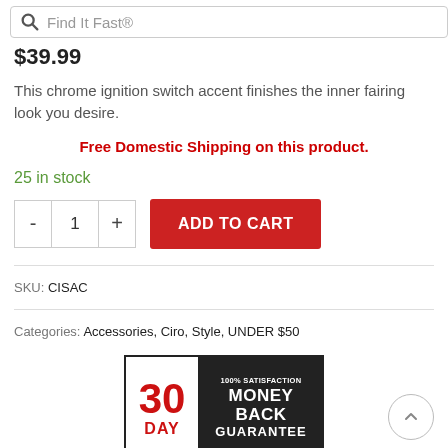Find It Fast®
$39.99
This chrome ignition switch accent finishes the inner fairing look you desire.
Free Domestic Shipping on this product.
25 in stock
ADD TO CART
SKU: CISAC
Categories: Accessories, Ciro, Style, UNDER $50
[Figure (logo): 30 DAY 100% SATISFACTION MONEY BACK GUARANTEE badge/logo in black and red]